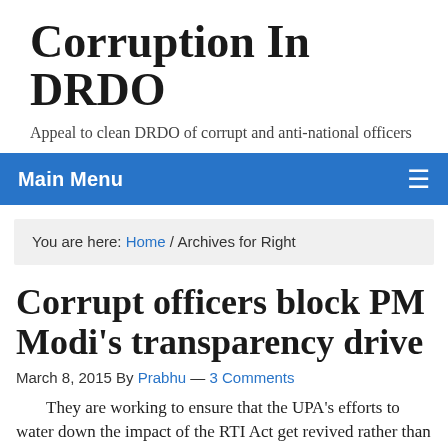Corruption In DRDO
Appeal to clean DRDO of corrupt and anti-national officers
Main Menu
You are here: Home / Archives for Right
Corrupt officers block PM Modi's transparency drive
March 8, 2015 By Prabhu — 3 Comments
They are working to ensure that the UPA's efforts to water down the impact of the RTI Act get revived rather than rolled back.